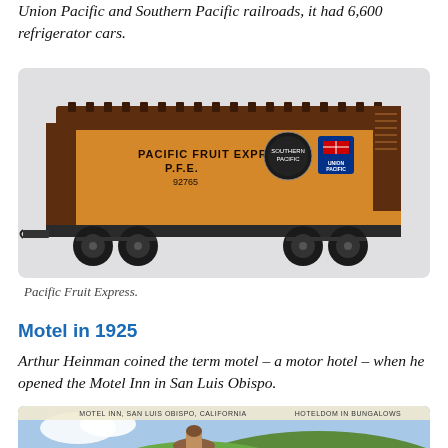Union Pacific and Southern Pacific railroads, it had 6,600 refrigerator cars.
[Figure (photo): Model of a Pacific Fruit Express refrigerator car, orange and brown, with text 'PACIFIC FRUIT EXPRESS P.F.E. 92765' and logos for Southern Pacific and Union Pacific railroads.]
Pacific Fruit Express.
Motel in 1925
Arthur Heinman coined the term motel – a motor hotel – when he opened the Motel Inn in San Luis Obispo.
[Figure (photo): Vintage postcard of Motel Inn, San Luis Obispo, California. Text reads 'MOTEL INN, SAN LUIS OBISPO, CALIFORNIA' and 'HOTELDOM IN BUNGALOWS'. Shows a building with a bell tower against green hills, with a 'MOTEL' sign visible.]